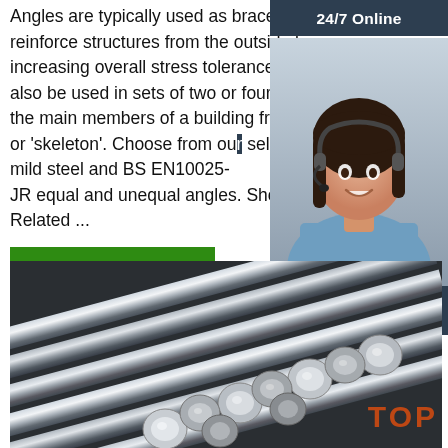Angles are typically used as braces to reinforce structures from the outside by increasing overall stress tolerance, but may also be used in sets of two or four to form the main members of a building framework or 'skeleton'. Choose from our selection of mild steel and BS EN10025- JR equal and unequal angles. Shop Steel Related ...
Get Price
[Figure (photo): 24/7 Online customer support representative — woman with headset smiling]
Click here for free chat !
QUOTATION
[Figure (photo): Close-up of multiple shiny steel round bars/rods stacked together with TOP watermark]
TOP